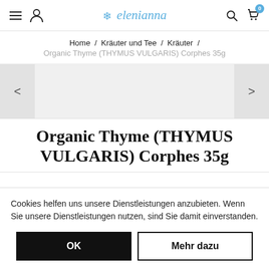helenianna — navigation header with hamburger menu, user icon, logo, search, cart (0)
Home / Kräuter und Tee / Kräuter / Organic Thyme (THYMUS VULGARIS) Corphes 35g
[Figure (other): Product image slider area with left and right navigation arrows on gray background]
Organic Thyme (THYMUS VULGARIS) Corphes 35g
Cookies helfen uns unsere Dienstleistungen anzubieten. Wenn Sie unsere Dienstleistungen nutzen, sind Sie damit einverstanden.
OK | Mehr dazu